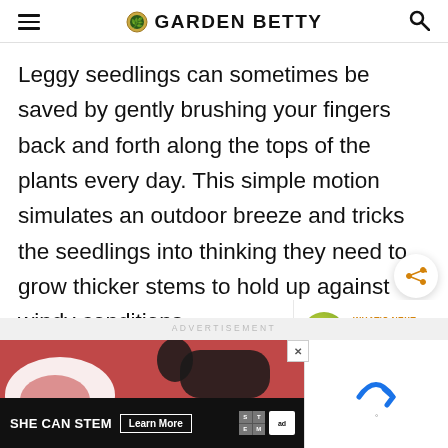GARDEN BETTY
Leggy seedlings can sometimes be saved by gently brushing your fingers back and forth along the tops of the plants every day. This simple motion simulates an outdoor breeze and tricks the seedlings into thinking they need to grow thicker stems to hold up against windy conditions.
[Figure (screenshot): Share button icon (circular white button with share symbol)]
[Figure (infographic): WHAT'S NEXT arrow callout with hummingbird thumbnail image and text 'Simply Perfect Hummingbir...']
[Figure (screenshot): Advertisement banner: SHE CAN STEM campaign with Learn More button, STEM and Ad Council logos, and reCAPTCHA logo on right side]